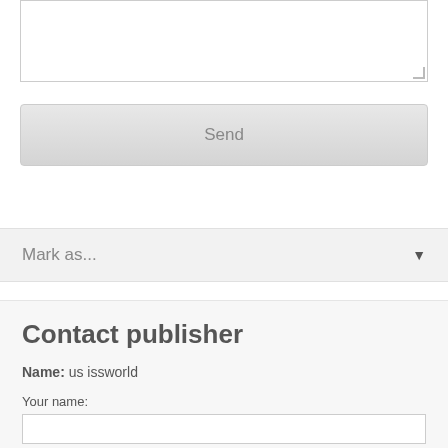[Figure (screenshot): A text area input box (empty) with a resize handle in the bottom-right corner]
[Figure (screenshot): A Send button with gray gradient background]
[Figure (screenshot): A 'Mark as...' dropdown selector with a downward arrow on the right]
Contact publisher
Name: us issworld
Your name:
[Figure (screenshot): An empty text input field for 'Your name']
Your e-mail address: